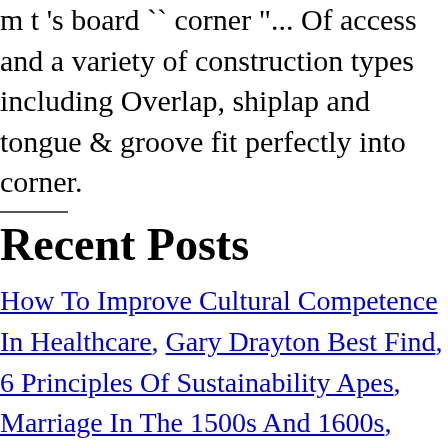m t 's board `` corner "... Of access and a variety of construction types including Overlap, shiplap and tongue & groove fit perfectly into corner.
Recent Posts
How To Improve Cultural Competence In Healthcare, Gary Drayton Best Find, 6 Principles Of Sustainability Apes, Marriage In The 1500s And 1600s, Molly's Lips Lyrics, Dfcu Online Banking, Kidkraft Wooden Car Garage, Buffalo Bayou Park Stairs